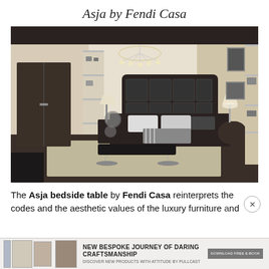Asja by Fendi Casa
[Figure (photo): Luxury bedroom interior with dark wood furniture, a tall upholstered black headboard, chandelier, bench at foot of bed, shelving units, and warm neutral-toned walls — Asja by Fendi Casa collection display.]
The Asja bedside table by Fendi Casa reinterprets the codes and the aesthetic values of the luxury furniture and
[Figure (infographic): Advertisement banner: NEW BESPOKE JOURNEY OF DARING CRAFTSMANSHIP — DISCOVER NEW PRODUCTS WITH ATTITUDE BY PULLCAST, with product images and a download button.]